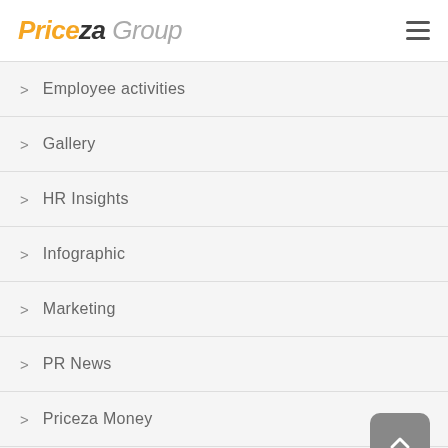Priceza Group
> Employee activities
> Gallery
> HR Insights
> Infographic
> Marketing
> PR News
> Priceza Money
> Product and Design
> Technology